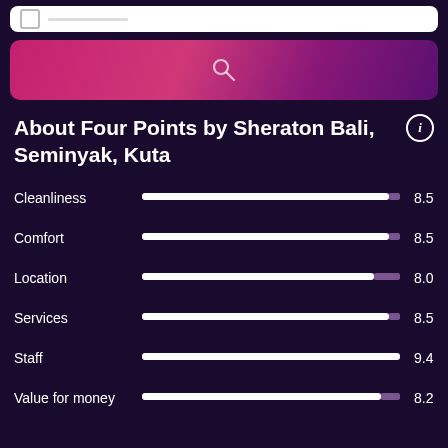[Figure (screenshot): White top bar with checkbox icon]
[Figure (screenshot): Pink/magenta gradient search bar with search icon]
About Four Points by Sheraton Bali, Seminyak, Kuta
[Figure (bar-chart): Hotel ratings]